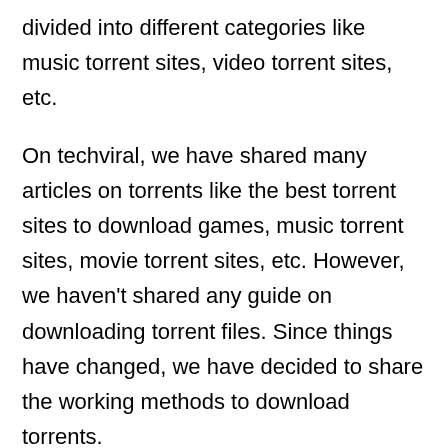divided into different categories like music torrent sites, video torrent sites, etc.
On techviral, we have shared many articles on torrents like the best torrent sites to download games, music torrent sites, movie torrent sites, etc. However, we haven't shared any guide on downloading torrent files. Since things have changed, we have decided to share the working methods to download torrents.
Also read: 10 Best Pirate Bay Alternatives
Contents [show]